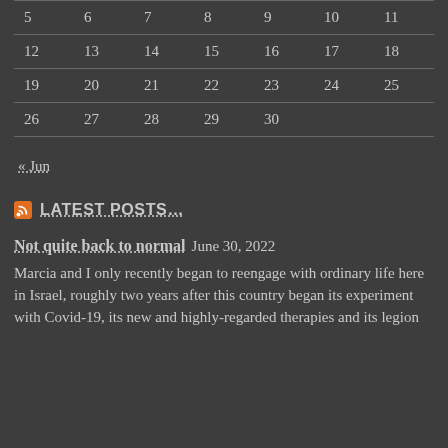| 5 | 6 | 7 | 8 | 9 | 10 | 11 |
| 12 | 13 | 14 | 15 | 16 | 17 | 18 |
| 19 | 20 | 21 | 22 | 23 | 24 | 25 |
| 26 | 27 | 28 | 29 | 30 |  |  |
« Jun
LATEST POSTS…
Not quite back to normal  June 30, 2022
Marcia and I only recently began to reengage with ordinary life here in Israel, roughly two years after this country began its experiment with Covid-19, its new and highly-regarded therapies and its legion of…